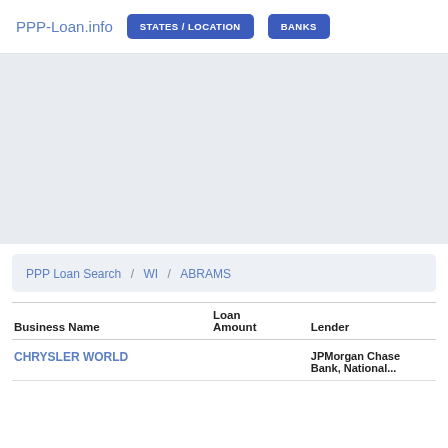PPP-Loan.info  STATES / LOCATION  BANKS
[Figure (other): Gray advertisement / banner placeholder area]
PPP Loan Search / WI / ABRAMS
| Business Name | Loan Amount | Lender |
| --- | --- | --- |
| CHRYSLER WORLD |  | JPMorgan Chase Bank, National... |